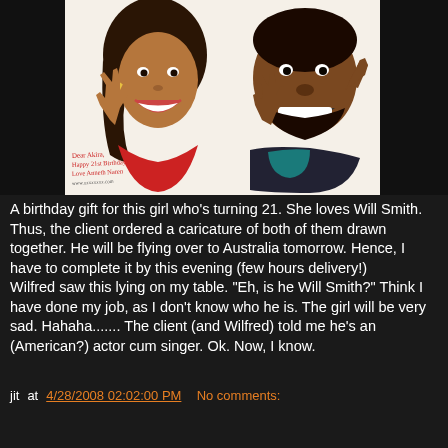[Figure (illustration): Caricature drawing of a woman and a man (resembling Will Smith) smiling and posing, with a handwritten birthday inscription at the bottom left.]
A birthday gift for this girl who's turning 21. She loves Will Smith. Thus, the client ordered a caricature of both of them drawn together. He will be flying over to Australia tomorrow. Hence, I have to complete it by this evening (few hours delivery!)
Wilfred saw this lying on my table. "Eh, is he Will Smith?" Think I have done my job, as I don't know who he is. The girl will be very sad. Hahaha....... The client (and Wilfred) told me he's an (American?) actor cum singer. Ok. Now, I know.
jit at 4/28/2008 02:02:00 PM   No comments:
Share